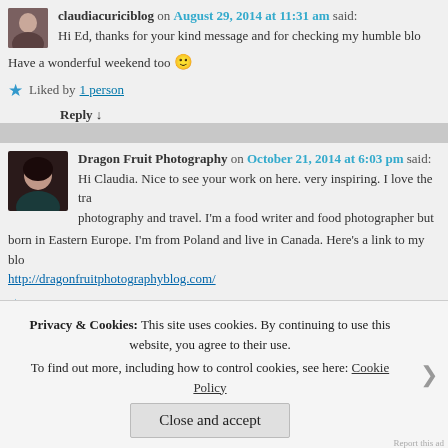claudiacuriciblog on August 29, 2014 at 11:31 am said: Hi Ed, thanks for your kind message and for checking my humble blo… Have a wonderful weekend too 🙂
Liked by 1 person
Reply ↓
Dragon Fruit Photography on October 21, 2014 at 6:03 pm said: Hi Claudia. Nice to see your work on here. very inspiring. I love the tra… photography and travel. I'm a food writer and food photographer but… born in Eastern Europe. I'm from Poland and live in Canada. Here's a link to my blo… http://dragonfruitphotographyblog.com/
Like
Privacy & Cookies: This site uses cookies. By continuing to use this website, you agree to their use. To find out more, including how to control cookies, see here: Cookie Policy
Close and accept